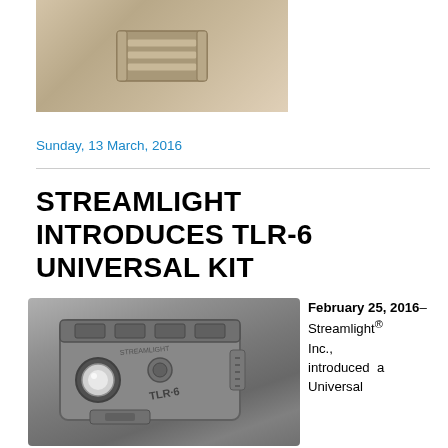[Figure (photo): Close-up photo of a small metal clip or rail mount accessory on a light background]
Sunday, 13 March, 2016
STREAMLIGHT INTRODUCES TLR-6 UNIVERSAL KIT
[Figure (photo): Photo of Streamlight TLR-6 weapon light/laser unit showing the device from an angle, with 'STREAMLIGHT' and 'TLR-6' text visible on the body]
February 25, 2016– Streamlight® Inc., introduced a Universal